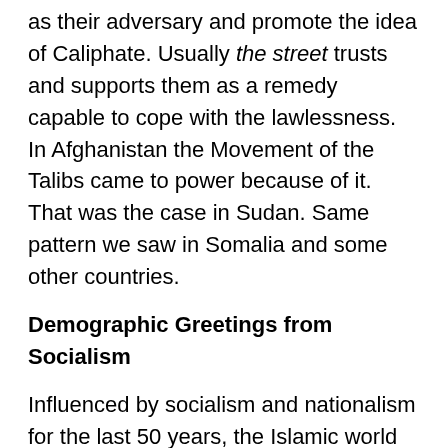as their adversary and promote the idea of Caliphate. Usually the street trusts and supports them as a remedy capable to cope with the lawlessness. In Afghanistan the Movement of the Talibs came to power because of it. That was the case in Sudan. Same pattern we saw in Somalia and some other countries.
Demographic Greetings from Socialism
Influenced by socialism and nationalism for the last 50 years, the Islamic world has experienced a demographic outburst. Its main cause was the establishment of the ‘society of solidarity’. Socialism and nationalism created an illusion that society and the state are able and ready to take care of all citizens, whatever the quantity of children would be in every family. Moreover the focal states of the bipolar